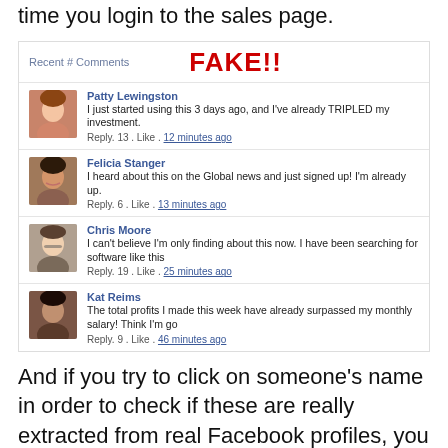time you login to the sales page.
[Figure (screenshot): Fake Facebook comments section with 'FAKE!!' stamp overlay showing four comments from Patty Lewingston, Felicia Stanger, Chris Moore, and Kat Reims]
And if you try to click on someone's name in order to check if these are really extracted from real Facebook profiles, you get redirected to the same sales page.